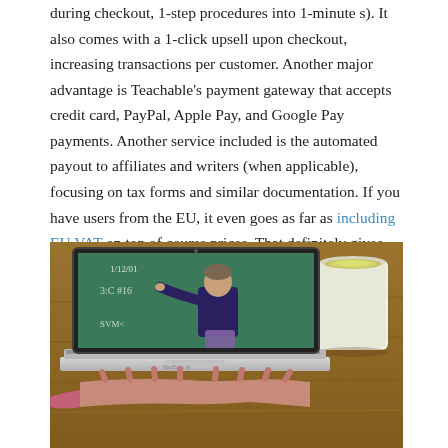during checkout, 1-step procedures into 1-minute s). It also comes with a 1-click upsell upon checkout, increasing transactions per customer. Another major advantage is Teachable's payment gateway that accepts credit card, PayPal, Apple Pay, and Google Pay payments. Another service included is the automated payout to affiliates and writers (when applicable), focusing on tax forms and similar documentation. If you have users from the EU, it even goes as far as including EU VAT on top of course prices. That definitely gives you more value for your content. Click here to check out pricing for Teachable.
[Figure (photo): A laptop screen showing a teacher writing on a chalkboard in an online course video, with a coffee cup beside the laptop on a wooden table, and hands typing on the keyboard.]